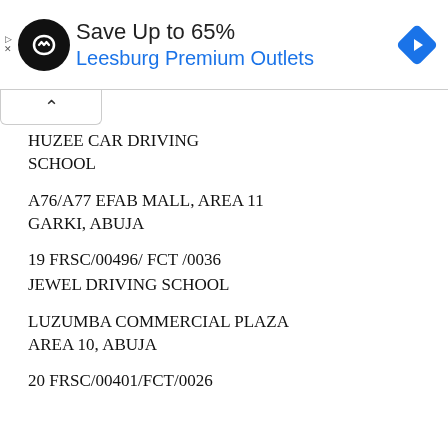[Figure (infographic): Advertisement banner: circular black logo with infinity/loop symbol, text 'Save Up to 65%' and 'Leesburg Premium Outlets' in blue, blue diamond navigation icon on right, small ad attribution arrows on left]
HUZEE CAR DRIVING SCHOOL
A76/A77 EFAB MALL, AREA 11
GARKI, ABUJA
19 FRSC/00496/ FCT /0036
JEWEL DRIVING SCHOOL
LUZUMBA COMMERCIAL PLAZA
AREA 10, ABUJA
20 FRSC/00401/FCT/0026